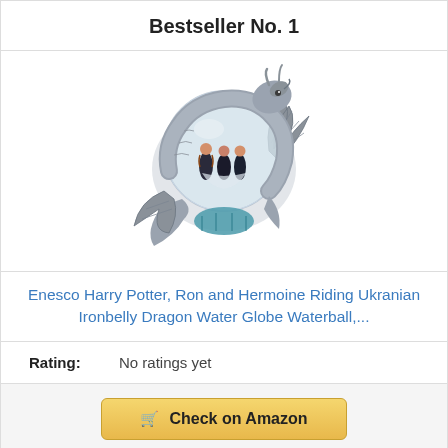Bestseller No. 1
[Figure (photo): A Harry Potter snow globe / waterball featuring Harry Potter, Ron, and Hermione riding a white Ukrainian Ironbelly dragon, with the dragon's wings and tail wrapped around the glass globe. The base shows a blue-teal scale detail.]
Enesco Harry Potter, Ron and Hermoine Riding Ukranian Ironbelly Dragon Water Globe Waterball,...
Rating: No ratings yet
Check on Amazon